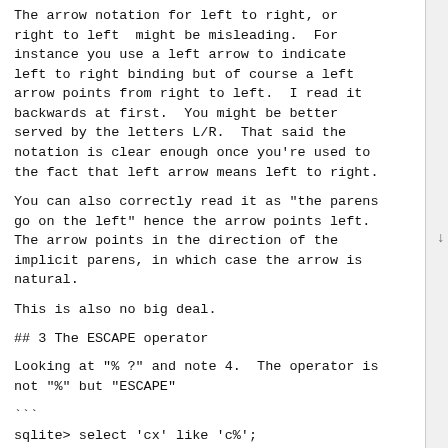The arrow notation for left to right, or right to left  might be misleading.  For instance you use a left arrow to indicate left to right binding but of course a left arrow points from right to left.  I read it backwards at first.  You might be better served by the letters L/R.  That said the notation is clear enough once you're used to the fact that left arrow means left to right.
You can also correctly read it as "the parens go on the left" hence the arrow points left. The arrow points in the direction of the implicit parens, in which case the arrow is natural.
This is also no big deal.
## 3 The ESCAPE operator
Looking at "% ?" and note 4.  The operator is not "%" but "ESCAPE"
```
sqlite> select 'cx' like 'c%';
1
sqlite> select 'cx' like 'c%' escape 'c';
0
```